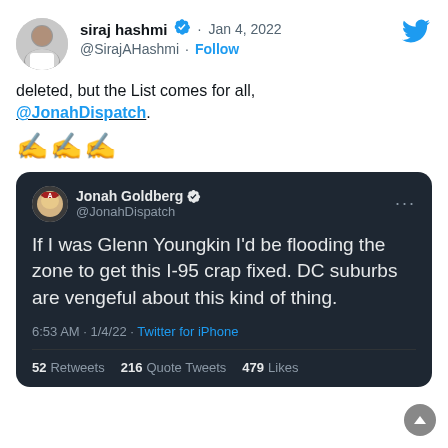[Figure (screenshot): Screenshot of two tweets. Outer tweet by siraj hashmi (@SirajAHashmi, verified) on Jan 4, 2022 saying 'deleted, but the List comes for all, @JonahDispatch.' followed by three lightning emoji. Inner quoted tweet by Jonah Goldberg (@JonahDispatch, verified) saying 'If I was Glenn Youngkin I'd be flooding the zone to get this I-95 crap fixed. DC suburbs are vengeful about this kind of thing.' posted at 6:53 AM 1/4/22 via Twitter for iPhone with 52 Retweets, 216 Quote Tweets, 479 Likes.]